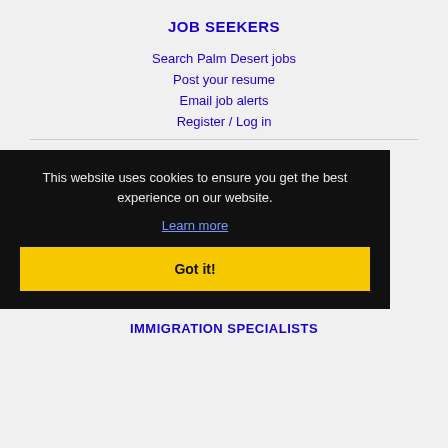JOB SEEKERS
Search Palm Desert jobs
Post your resume
Email job alerts
Register / Log in
This website uses cookies to ensure you get the best experience on our website.
Learn more
Got it!
IMMIGRATION SPECIALISTS